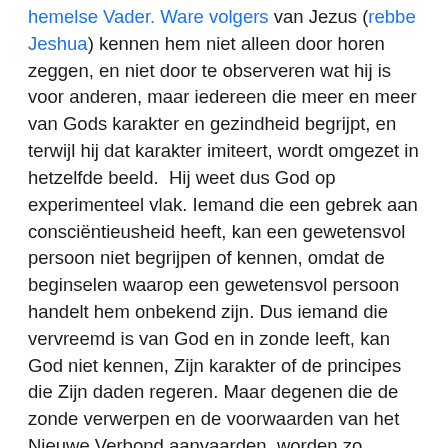hemelse Vader. Ware volgers van Jezus (rebbe Jeshua) kennen hem niet alleen door horen zeggen, en niet door te observeren wat hij is voor anderen, maar iedereen die meer en meer van Gods karakter en gezindheid begrijpt, en terwijl hij dat karakter imiteert, wordt omgezet in hetzelfde beeld.  Hij weet dus God op experimenteel vlak. Iemand die een gebrek aan consciëntieusheid heeft, kan een gewetensvol persoon niet begrijpen of kennen, omdat de beginselen waarop een gewetensvol persoon handelt hem onbekend zijn. Dus iemand die vervreemd is van God en in zonde leeft, kan God niet kennen, Zijn karakter of de principes die Zijn daden regeren. Maar degenen die de zonde verwerpen en de voorwaarden van het Nieuwe Verbond aanvaarden, worden zo getransformeerd door de vernieuwing van hun geest dat zij in staat zijn om dat te bewijzen door de goede en aanvaardbare en volmaakte